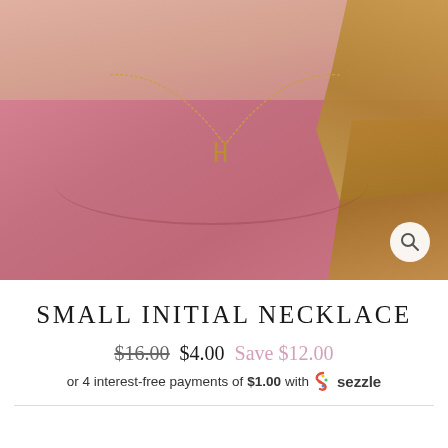[Figure (photo): Woman wearing a pink top with a small gold initial 'H' necklace on a delicate chain, close-up shot of neck and chest area with blonde hair visible on the right side. A magnifier/zoom icon is visible in the bottom-right corner of the image.]
SMALL INITIAL NECKLACE
$16.00  $4.00  Save $12.00
or 4 interest-free payments of $1.00 with Sezzle